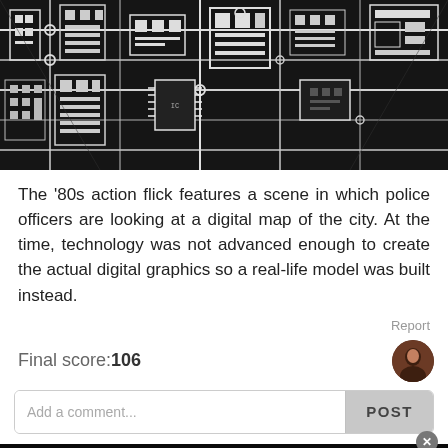[Figure (photo): Aerial view of a circuit board resembling a city, with black background and white/gray electronic components and pathways, shot from above at an angle.]
The '80s action flick features a scene in which police officers are looking at a digital map of the city. At the time, technology was not advanced enough to create the actual digital graphics so a real-life model was built instead.
Report
Final score:106
Add a comment...
POST
[Figure (infographic): Advertisement banner for Golden Gate hotel reading 'STAY WHERE IT ALL STARTED' with hotel logo and a 'BOOK NOW' button in gold.]